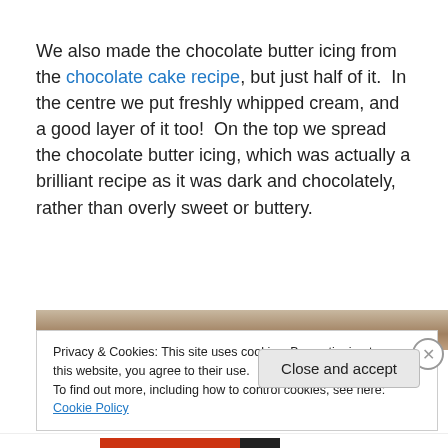We also made the chocolate butter icing from the chocolate cake recipe, but just half of it.  In the centre we put freshly whipped cream, and a good layer of it too!  On the top we spread the chocolate butter icing, which was actually a brilliant recipe as it was dark and chocolately, rather than overly sweet or buttery.
[Figure (photo): Partial photo of a chocolate cake with decorations, cropped at top of cookie banner]
Privacy & Cookies: This site uses cookies. By continuing to use this website, you agree to their use.
To find out more, including how to control cookies, see here: Cookie Policy
Close and accept